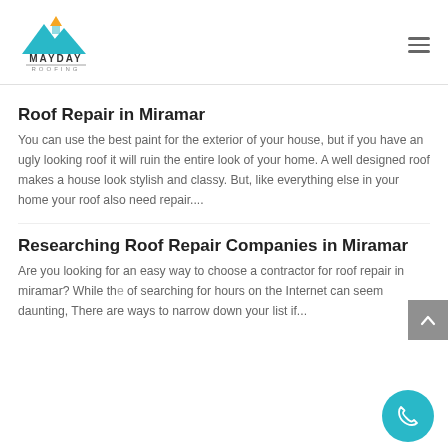[Figure (logo): Mayday Roofing company logo with teal mountain/roof graphic and text MAYDAY ROOFING]
Roof Repair in Miramar
You can use the best paint for the exterior of your house, but if you have an ugly looking roof it will ruin the entire look of your home. A well designed roof makes a house look stylish and classy. But, like everything else in your home your roof also need repair....
Researching Roof Repair Companies in Miramar
Are you looking for an easy way to choose a contractor for roof repair in miramar? While the of searching for hours on the Internet can seem daunting, There are ways to narrow down your list if...